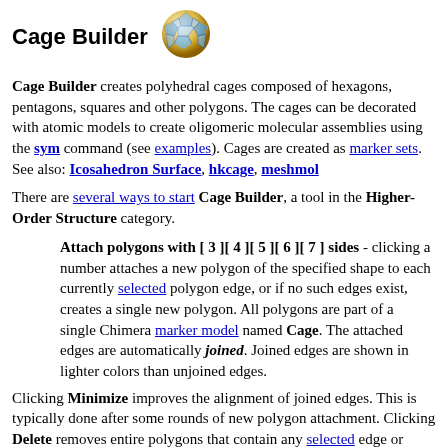Cage Builder
[Figure (illustration): 3D polyhedral cage icon, a blue and gold geodesic sphere-like structure]
Cage Builder creates polyhedral cages composed of hexagons, pentagons, squares and other polygons. The cages can be decorated with atomic models to create oligomeric molecular assemblies using the sym command (see examples). Cages are created as marker sets. See also: Icosahedron Surface, hkcage, meshmol
There are several ways to start Cage Builder, a tool in the Higher-Order Structure category.
Attach polygons with [ 3 ][ 4 ][ 5 ][ 6 ][ 7 ] sides - clicking a number attaches a new polygon of the specified shape to each currently selected polygon edge, or if no such edges exist, creates a single new polygon. All polygons are part of a single Chimera marker model named Cage. The attached edges are automatically joined. Joined edges are shown in lighter colors than unjoined edges.
Clicking Minimize improves the alignment of joined edges. This is typically done after some rounds of new polygon attachment. Clicking Delete removes entire polygons that contain any selected edge or vertex. Close simply dismisses the dialog, and Help opens